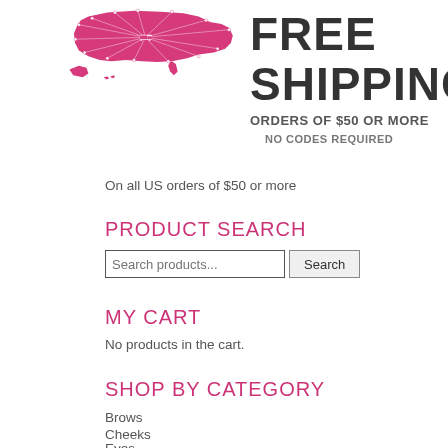[Figure (infographic): Pink US map with rays from center and text FREE SHIPPING ORDERS OF $50 OR MORE NO CODES REQUIRED]
On all US orders of $50 or more
PRODUCT SEARCH
Search products...
MY CART
No products in the cart.
SHOP BY CATEGORY
Brows
Cheeks
Eyes